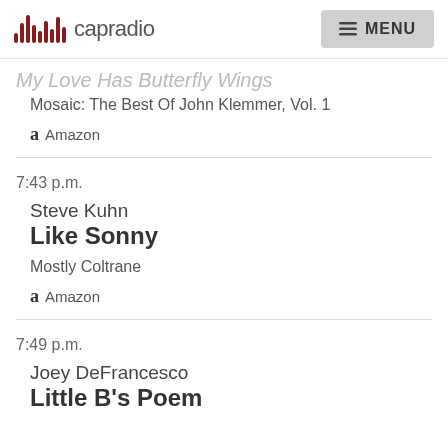capradio | MENU
My Love Has Butterfly Wings
Mosaic: The Best Of John Klemmer, Vol. 1
Amazon
7:43 p.m.
Steve Kuhn
Like Sonny
Mostly Coltrane
Amazon
7:49 p.m.
Joey DeFrancesco
Little B's Poem